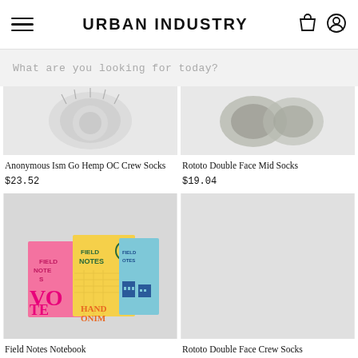URBAN INDUSTRY
What are you looking for today?
[Figure (photo): Anonymous Ism Go Hemp OC Crew Socks product photo on light grey background]
Anonymous Ism Go Hemp OC Crew Socks
$23.52
[Figure (photo): Rototo Double Face Mid Socks product photo on light grey background]
Rototo Double Face Mid Socks
$19.04
[Figure (photo): Field Notes notebooks product photo showing three colorful notebooks on grey background]
Field Notes Notebook
$15.27
[Figure (photo): Rototo Double Face Crew Socks product photo (blank grey area shown)]
Rototo Double Face Crew Socks
$24.35